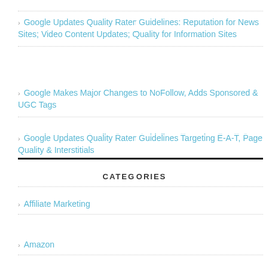Google Updates Quality Rater Guidelines: Reputation for News Sites; Video Content Updates; Quality for Information Sites
Google Makes Major Changes to NoFollow, Adds Sponsored & UGC Tags
Google Updates Quality Rater Guidelines Targeting E-A-T, Page Quality & Interstitials
CATEGORIES
Affiliate Marketing
Amazon